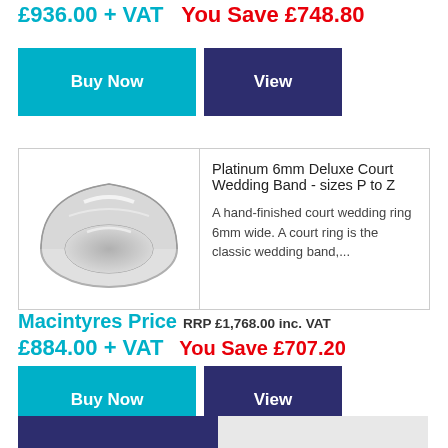£936.00 + VAT   You Save £748.80
[Figure (other): Buy Now button (cyan) and View button (dark navy blue)]
[Figure (photo): Platinum 6mm Deluxe Court Wedding Band ring product photo]
Platinum 6mm Deluxe Court Wedding Band - sizes P to Z
A hand-finished court wedding ring 6mm wide. A court ring is the classic wedding band,...
Macintyres Price  RRP £1,768.00 inc. VAT  £884.00 + VAT  You Save £707.20
[Figure (other): Buy Now button (cyan) and View button (dark navy blue)]
[Figure (other): Footer navigation bar with dark navy and light grey sections]